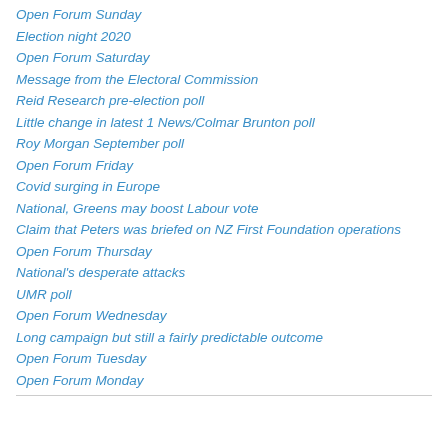Open Forum Sunday
Election night 2020
Open Forum Saturday
Message from the Electoral Commission
Reid Research pre-election poll
Little change in latest 1 News/Colmar Brunton poll
Roy Morgan September poll
Open Forum Friday
Covid surging in Europe
National, Greens may boost Labour vote
Claim that Peters was briefed on NZ First Foundation operations
Open Forum Thursday
National's desperate attacks
UMR poll
Open Forum Wednesday
Long campaign but still a fairly predictable outcome
Open Forum Tuesday
Open Forum Monday